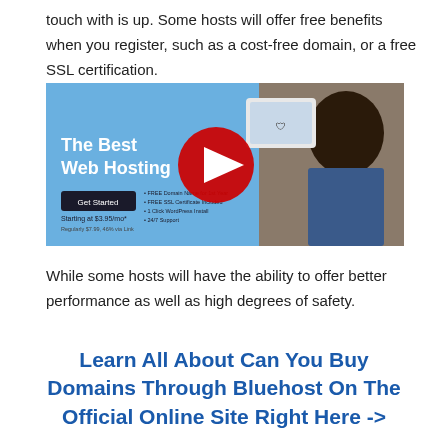touch with is up. Some hosts will offer free benefits when you register, such as a cost-free domain, or a free SSL certification.
[Figure (screenshot): A promotional web hosting banner showing 'The Best Web Hosting' text in white on blue background with a 'Get Started' button and pricing, along with a YouTube play button overlay and a person with an afro hairstyle on the right side.]
While some hosts will have the ability to offer better performance as well as high degrees of safety.
Learn All About Can You Buy Domains Through Bluehost On The Official Online Site Right Here ->